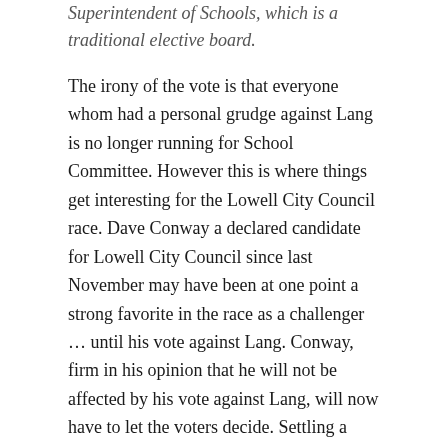Superintendent of Schools, which is a traditional elective board.
The irony of the vote is that everyone whom had a personal grudge against Lang is no longer running for School Committee. However this is where things get interesting for the Lowell City Council race. Dave Conway a declared candidate for Lowell City Council since last November may have been at one point a strong favorite in the race as a challenger … until his vote against Lang. Conway, firm in his opinion that he will not be affected by his vote against Lang, will now have to let the voters decide. Settling a personal issue could result in political suicide. Turning against a well-liked local guy is a fascinating political risk, but anything can happen.
It was well accepted until recently that this year's Lowell City Council race would be a dud and have a historically low voter turnout. All the incumbents have done a great job and are working well with City Manager Murphy and his team. All incumbents are expected to be safe with one open seat in the race.
Now enters into the City Council race Jim Leary. Jim shocked Lowell's political crowd by announcing that he would leave the